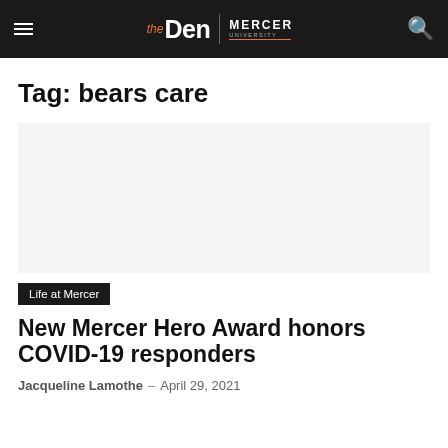the Den | Mercer University
Tag: bears care
[Figure (other): Article thumbnail image placeholder (blank white area)]
Life at Mercer
New Mercer Hero Award honors COVID-19 responders
Jacqueline Lamothe — April 29, 2021